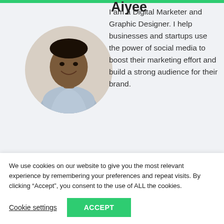Aiyee
[Figure (photo): Circular profile photo of a smiling man wearing a light blue shirt]
I am a Digital Marketer and Graphic Designer. I help businesses and startups use the power of social media to boost their marketing effort and build a strong audience for their brand.
We use cookies on our website to give you the most relevant experience by remembering your preferences and repeat visits. By clicking “Accept”, you consent to the use of ALL the cookies.
Cookie settings
ACCEPT